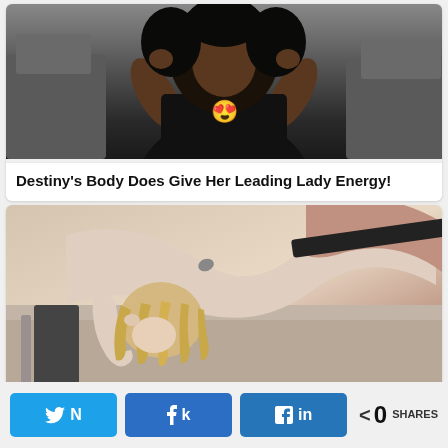[Figure (photo): Woman in black tank top posing in front of a car, with a heart-eyes emoji overlay]
Destiny's Body Does Give Her Leading Lady Energy!
[Figure (photo): Blonde woman in a light pink top bending forward on a table]
Twitter share button, Facebook share button, LinkedIn share button, < 0 SHARES